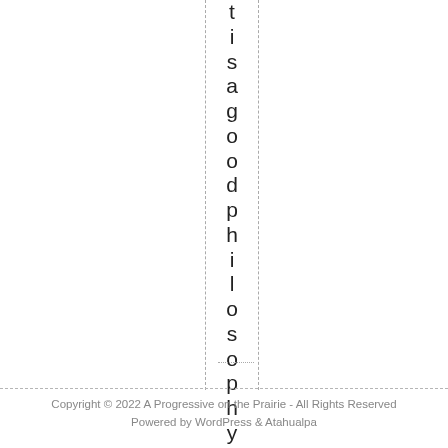t i s a g o o d p h i l o s o p h y !
Copyright © 2022 A Progressive on the Prairie - All Rights Reserved
Powered by WordPress & Atahualpa